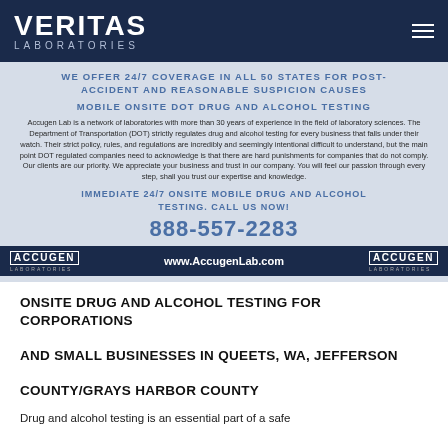VERITAS LABORATORIES
[Figure (infographic): Accugen Laboratories advertisement banner with navy and light blue background, showing mobile onsite DOT drug and alcohol testing services, phone number 888-557-2283, and website www.AccugenLab.com]
ONSITE DRUG AND ALCOHOL TESTING FOR CORPORATIONS AND SMALL BUSINESSES IN Queets, WA, Jefferson County/Grays Harbor County
Drug and alcohol testing is an essential part of a safe...